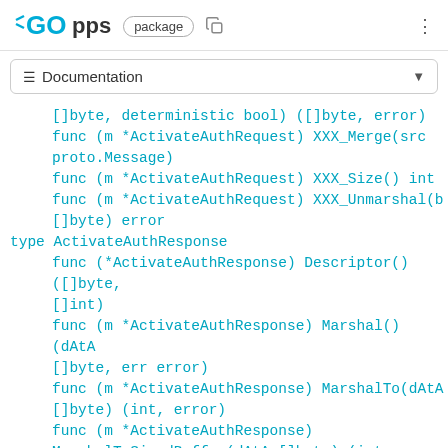GO pps package
≡ Documentation
[]byte, deterministic bool) ([]byte, error)
func (m *ActivateAuthRequest) XXX_Merge(src proto.Message)
func (m *ActivateAuthRequest) XXX_Size() int
func (m *ActivateAuthRequest) XXX_Unmarshal(b []byte) error
type ActivateAuthResponse
func (*ActivateAuthResponse) Descriptor() ([]byte, []int)
func (m *ActivateAuthResponse) Marshal() (dAtA []byte, err error)
func (m *ActivateAuthResponse) MarshalTo(dAtA []byte) (int, error)
func (m *ActivateAuthResponse)
MarshalToSizedBuffer(dAtA []byte) (int, error)